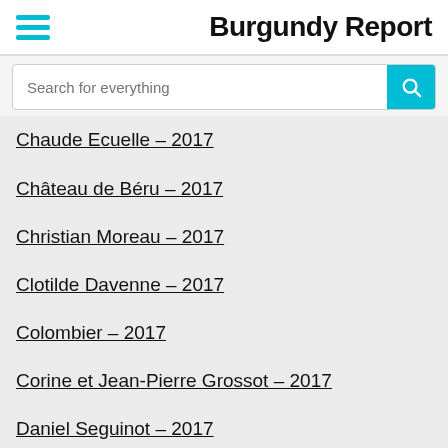Burgundy Report
Search for everything
Chaude Ecuelle – 2017
Château de Béru – 2017
Christian Moreau – 2017
Clotilde Davenne – 2017
Colombier – 2017
Corine et Jean-Pierre Grossot – 2017
Daniel Seguinot – 2017
D[Translate »] & Vincent Dampt – 2017